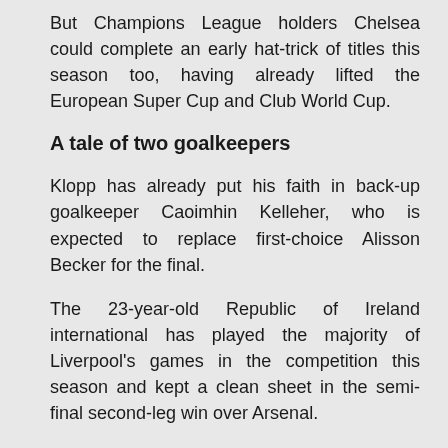But Champions League holders Chelsea could complete an early hat-trick of titles this season too, having already lifted the European Super Cup and Club World Cup.
A tale of two goalkeepers
Klopp has already put his faith in back-up goalkeeper Caoimhin Kelleher, who is expected to replace first-choice Alisson Becker for the final.
The 23-year-old Republic of Ireland international has played the majority of Liverpool's games in the competition this season and kept a clean sheet in the semi-final second-leg win over Arsenal.